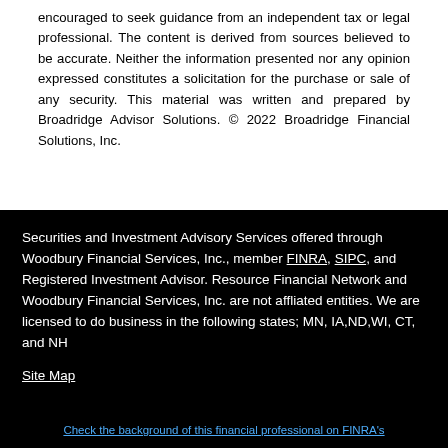encouraged to seek guidance from an independent tax or legal professional. The content is derived from sources believed to be accurate. Neither the information presented nor any opinion expressed constitutes a solicitation for the purchase or sale of any security. This material was written and prepared by Broadridge Advisor Solutions. © 2022 Broadridge Financial Solutions, Inc.
Securities and Investment Advisory Services offered through Woodbury Financial Services, Inc., member FINRA, SIPC, and Registered Investment Advisor. Resource Financial Network and Woodbury Financial Services, Inc. are not affliated entities. We are licensed to do business in the following states; MN, IA,ND,WI, CT, and NH
Site Map
Check the background of this financial professional on FINRA's